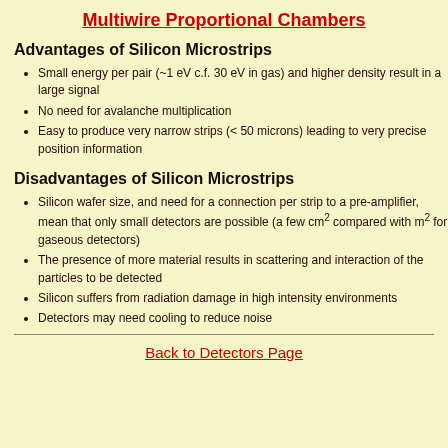Multiwire Proportional Chambers
Advantages of Silicon Microstrips
Small energy per pair (~1 eV c.f. 30 eV in gas) and higher density result in a large signal
No need for avalanche multiplication
Easy to produce very narrow strips (< 50 microns) leading to very precise position information
Disadvantages of Silicon Microstrips
Silicon wafer size, and need for a connection per strip to a pre-amplifier, mean that only small detectors are possible (a few cm² compared with m² for gaseous detectors)
The presence of more material results in scattering and interaction of the particles to be detected
Silicon suffers from radiation damage in high intensity environments
Detectors may need cooling to reduce noise
Back to Detectors Page